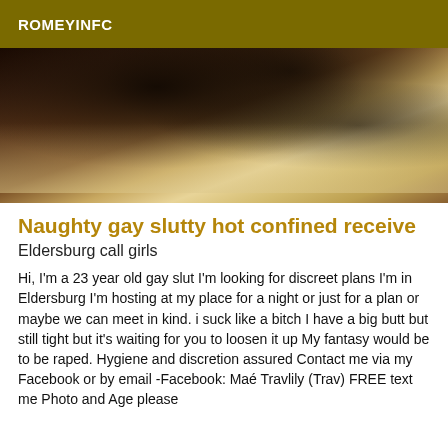ROMEYINFC
[Figure (photo): Close-up photo of a person lying on a bed with a patterned sheet featuring small animal/elephant prints]
Naughty gay slutty hot confined receive
Eldersburg call girls
Hi, I'm a 23 year old gay slut I'm looking for discreet plans I'm in Eldersburg I'm hosting at my place for a night or just for a plan or maybe we can meet in kind. i suck like a bitch I have a big butt but still tight but it's waiting for you to loosen it up My fantasy would be to be raped. Hygiene and discretion assured Contact me via my Facebook or by email -Facebook: Maé Travlily (Trav) FREE text me Photo and Age please